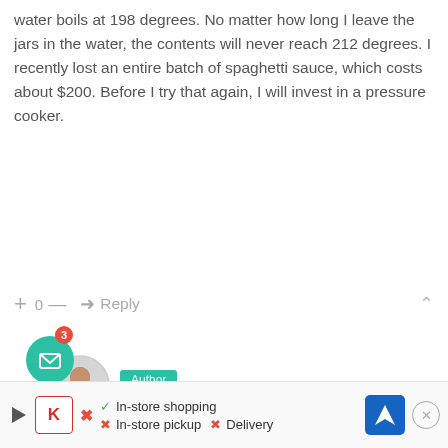water boils at 198 degrees. No matter how long I leave the jars in the water, the contents will never reach 212 degrees. I recently lost an entire batch of spaghetti sauce, which costs about $200. Before I try that again, I will invest in a pressure cooker.
+ 0 — → Reply
[Figure (photo): Avatar photo of Sharon, a woman in a teal top, circular cropped photo with teal Author badge]
Author
Sharon  🕐 8 months ago  🔗
| 💬 Reply to Rocco
You are correct, to have a water bath go longer won't increase the heat. It simply allows more time for the heat to penetrate the food. But the waterbath would be for only fruit or other food appropriate for the waterbath. The waterbath is never a substitute for the pressure canner. It will never get to a high enough heat.
[Figure (screenshot): Advertisement bar at the bottom showing Kroger in-store shopping options: In-store shopping (checkmark), In-store pickup (X), Delivery (X). Blue navigation icon on right. Close X button.]